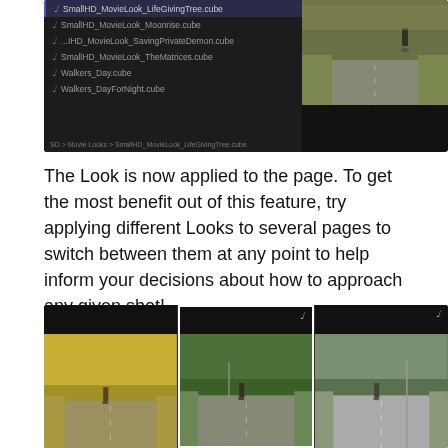[Figure (screenshot): Screenshot of a SmallHD movie look selection menu on dark background, showing cube LUT files: SmallHD_MovieLook_LifeGivingTree.cube (highlighted/selected at top), SmallHD_MovieLook_Moonrise.cube, ...IHD_MovieLook_SavingPrivateDemon.cube, SmallHD_MovieLook_TheMatrices.cube, Walkers_Day.cube, Walkers_DayForNight.cube. A small road preview image is in the top right. Breadcrumb at bottom reads: SD > Movie Looks > SmallHD_MovieLook_LifeGivingTree.cube]
The Look is now applied to the page.  To get the most benefit out of this feature, try applying different Looks to several pages to switch between them at any point to help inform your decisions about how to approach any given shot!
[Figure (screenshot): Three side-by-side video preview panels on dark background showing the same road scene (person on bicycle riding away on a straight road lined with trees) with different color looks applied: left panel has warm golden/yellow tint, middle panel (highlighted with white border) has neutral/natural green tint, right panel has cooler green-grey tint. Each panel has a small icon in the upper right area.]